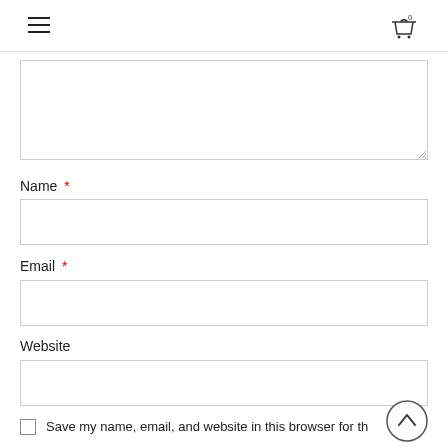Navigation header with hamburger menu and shopping cart icon
[Figure (screenshot): Partially visible textarea form field with resize handle at bottom right]
Name *
[Figure (screenshot): Empty Name input field]
Email *
[Figure (screenshot): Empty Email input field]
Website
[Figure (screenshot): Empty Website input field]
Save my name, email, and website in this browser for the next time I comment.